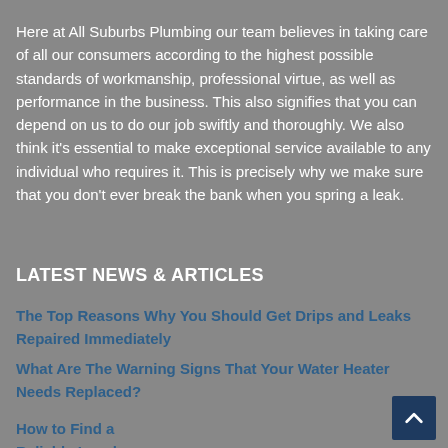Here at All Suburbs Plumbing our team believes in taking care of all our consumers according to the highest possible standards of workmanship, professional virtue, as well as performance in the business. This also signifies that you can depend on us to do our job swiftly and thoroughly. We also think it's essential to make exceptional service available to any individual who requires it. This is precisely why we make sure that you don't ever break the bank when you spring a leak.
LATEST NEWS & ARTICLES
The Top Reasons Why You Should Get Drips and Leaks Repaired Immediately
What Are The Warning Signs That Your Water Heater Needs Replaced?
How to Find a Reliable Local Plumber